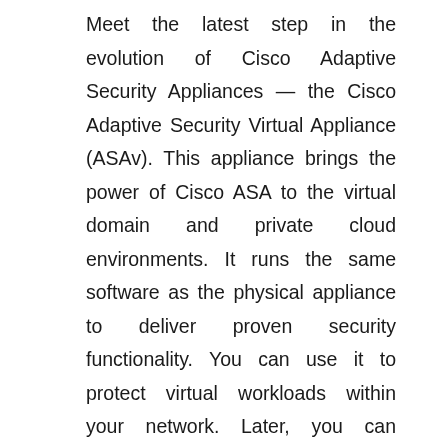Meet the latest step in the evolution of Cisco Adaptive Security Appliances — the Cisco Adaptive Security Virtual Appliance (ASAv). This appliance brings the power of Cisco ASA to the virtual domain and private cloud environments. It runs the same software as the physical appliance to deliver proven security functionality. You can use it to protect virtual workloads within your network. Later, you can expand, contract, or shift the location of these workloads over time and span physical, virtual, and public cloud infrastructures. In the past, computing infrastructure elements were implemented with specialized hardware built for that purpose. With the advent of x86 server virtualization and the need for more power. Businesses are deploying their computing, storage, and network infrastructure with